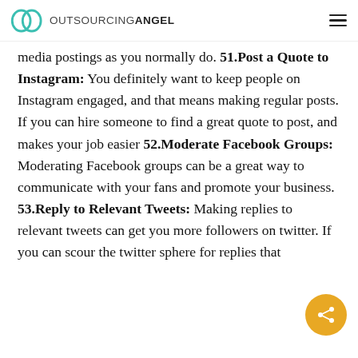OUTSOURCINGANGEL
media postings as you normally do. 51.Post a Quote to Instagram: You definitely want to keep people on Instagram engaged, and that means making regular posts. If you can hire someone to find a great quote to post, and makes your job easier 52.Moderate Facebook Groups: Moderating Facebook groups can be a great way to communicate with your fans and promote your business. 53.Reply to Relevant Tweets: Making replies to relevant tweets can get you more followers on twitter. If you can scour the twitter sphere for replies that